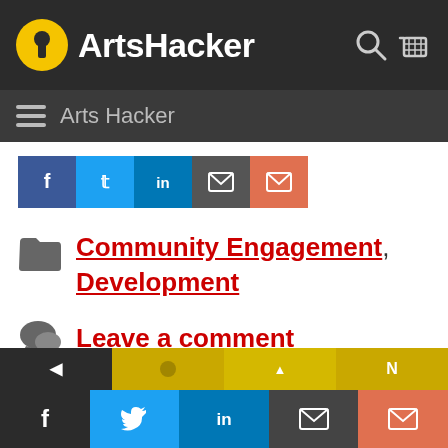ArtsHacker
Arts Hacker
[Figure (screenshot): Social share buttons: Facebook, Twitter, LinkedIn, email (dark), email (orange)]
Community Engagement, Development
Leave a comment
[Figure (screenshot): Bottom navigation buttons and social share bar: Facebook, Twitter, LinkedIn, email, email]